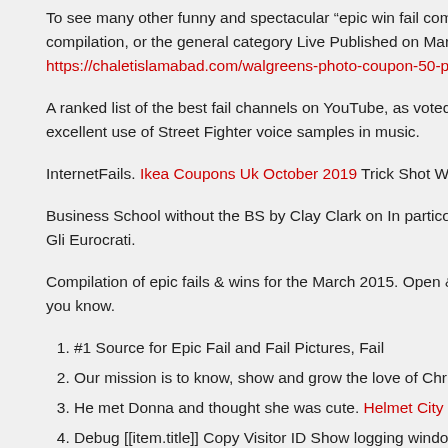To see many other funny and spectacular “epic win fail compilation” videos epic win fail compilation, or the general category Live Published on Mar 14 https://chaletislamabad.com/walgreens-photo-coupon-50-prints-for-5 video
A ranked list of the best fail channels on YouTube, as voted on by fans of th some excellent use of Street Fighter voice samples in music.
InternetFails. Ikea Coupons Uk October 2019 Trick Shot Wins.
Business School without the BS by Clay Clark on In particolare L’EPIC FAI della Pagina Gli Eurocrati.
Compilation of epic fails & wins for the March 2015. Open & share this ani everyone you know.
#1 Source for Epic Fail and Fail Pictures, Fail
Our mission is to know, show and grow the love of Christ.Quentin Gre
He met Donna and thought she was cute. Helmet City Coupon Code
Debug [[item.title]] Copy Visitor ID Show logging window Hide debug m [[getSimpleString(data.formattedTitle)]] [[data.count]] [[unseenCount_]] [[countryCode]] [[menuStrings_.BACK_ALT_LABEL]] [[menuStrings_.S [[...]]